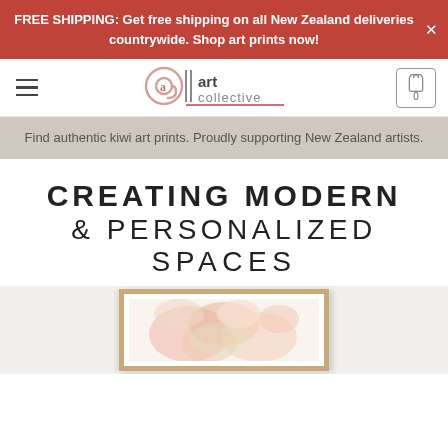FREE SHIPPING: Get free shipping on all New Zealand deliveries countrywide. Shop art prints now!
[Figure (logo): Art Collective logo with stylized @a symbol and vertical bar with 'art collective' text]
Find authentic kiwi art prints. Proudly supporting New Zealand artists.
CREATING MODERN & PERSONALIZED SPACES
[Figure (photo): Framed artwork with floral/abstract pink and soft tones displayed on a light wall]